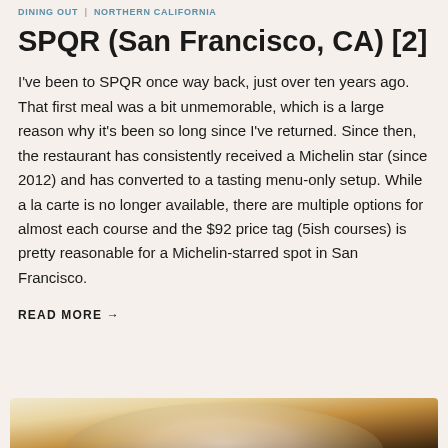DINING OUT | NORTHERN CALIFORNIA
SPQR (San Francisco, CA) [2]
I've been to SPQR once way back, just over ten years ago. That first meal was a bit unmemorable, which is a large reason why it's been so long since I've returned. Since then, the restaurant has consistently received a Michelin star (since 2012) and has converted to a tasting menu-only setup. While a la carte is no longer available, there are multiple options for almost each course and the $92 price tag (5ish courses) is pretty reasonable for a Michelin-starred spot in San Francisco.
READ MORE →
[Figure (photo): Bottom portion of a food photograph showing a plate, partially visible at the bottom of the page.]